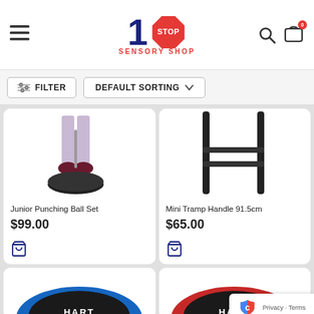1 Stop Sensory Shop
FILTER  DEFAULT SORTING
[Figure (photo): Junior Punching Ball Set product image showing a child's legs next to a punching ball on a stand]
Junior Punching Ball Set
$99.00
[Figure (photo): Mini Tramp Handle 91.5cm product image showing black handle/bar on white background]
Mini Tramp Handle 91.5cm
$65.00
[Figure (photo): Blue round mini trampoline partially visible at bottom]
[Figure (photo): Red round mini trampoline partially visible at bottom]